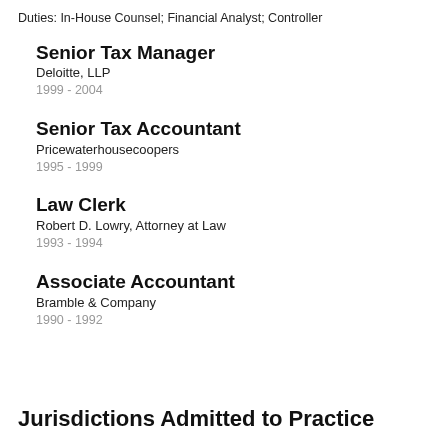Duties: In-House Counsel; Financial Analyst; Controller
Senior Tax Manager
Deloitte, LLP
1999 - 2004
Senior Tax Accountant
Pricewaterhousecoopers
1995 - 1999
Law Clerk
Robert D. Lowry, Attorney at Law
1993 - 1994
Associate Accountant
Bramble & Company
1990 - 1992
Jurisdictions Admitted to Practice